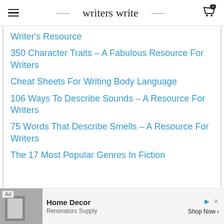writers write
Writer's Resource
350 Character Traits – A Fabulous Resource For Writers
Cheat Sheets For Writing Body Language
106 Ways To Describe Sounds – A Resource For Writers
75 Words That Describe Smells – A Resource For Writers
The 17 Most Popular Genres In Fiction